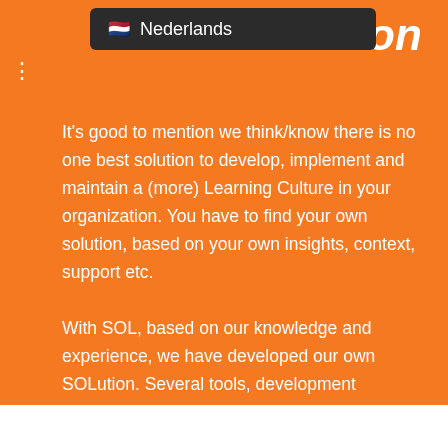[Figure (screenshot): Nederlands language dropdown menu overlay on orange background]
It's good to mention we think/know there is no one best solution to develop, implement and maintain a (more) Learning Culture in your organization. You have to find your own solution, based on your own insights, context, support etc.
With SOL, based on our knowledge and experience, we have developed our own SOLution. Several tools, development programs, conSOLtancy etc. focused on developing a (more) Learing Culture. Use this as an inspiration or input for your own learning journey.